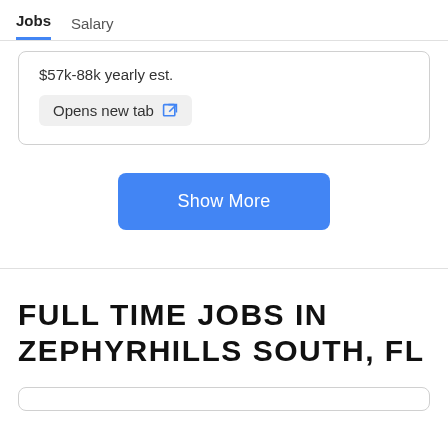Jobs  Salary
$57k-88k yearly est.
Opens new tab
Show More
FULL TIME JOBS IN ZEPHYRHILLS SOUTH, FL